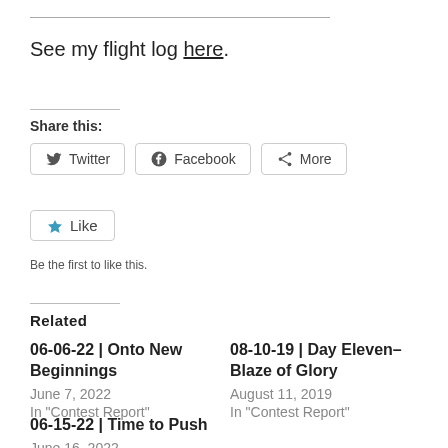See my flight log here.
Share this:
Twitter  Facebook  More
Like
Be the first to like this.
Related
06-06-22 | Onto New Beginnings
June 7, 2022
In "Contest Report"
08-10-19 | Day Eleven–Blaze of Glory
August 11, 2019
In "Contest Report"
06-15-22 | Time to Push
June 16, 2022
In "Contest Report"